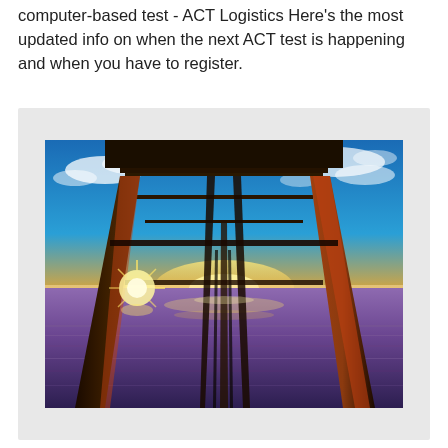computer-based test - ACT Logistics Here's the most updated info on when the next ACT test is happening and when you have to register.
[Figure (photo): Dramatic sunset photograph taken from underneath a beach pier, looking out toward the ocean. The pier's wooden support pillars frame the scene. The sky is vivid blue and orange with scattered clouds, and the sun is setting on the horizon creating a starburst of light. The ocean water reflects the warm golden and purple tones of the sunset.]